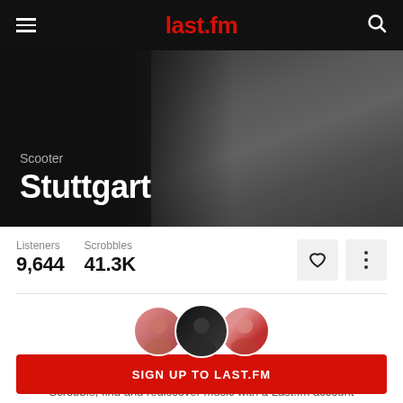last.fm
[Figure (photo): Hero banner showing Scooter band members with dark overlay, artist name 'Scooter' subtitle and track title 'Stuttgart' in large white bold text]
Listeners 9,644  Scrobbles 41.3K
[Figure (photo): Three circular user avatar photos overlapping, representing listeners who track this song]
Join others and track this song
Scrobble, find and rediscover music with a Last.fm account
SIGN UP TO LAST.FM